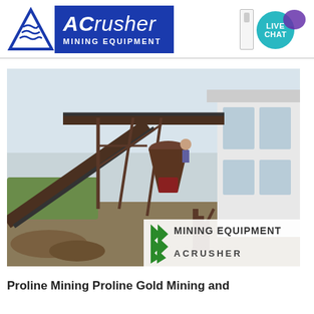[Figure (logo): ACrusher Mining Equipment logo with blue triangle icon and blue rectangle background with brand name]
[Figure (photo): Industrial mining crushing plant with conveyor belts, a cone crusher, steel framework, and a white building. Bottom right watermark reads MINING EQUIPMENT ACRUSHER with green chevron logos.]
Proline Mining Proline Gold Mining and